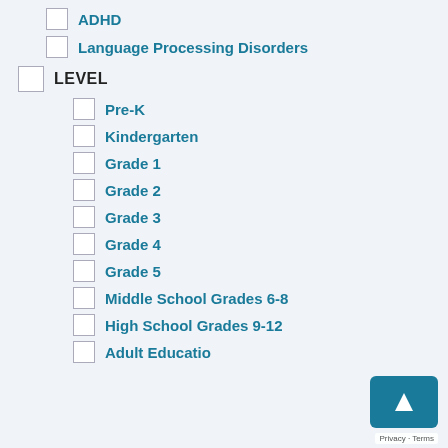ADHD
Language Processing Disorders
LEVEL
Pre-K
Kindergarten
Grade 1
Grade 2
Grade 3
Grade 4
Grade 5
Middle School Grades 6-8
High School Grades 9-12
Adult Education